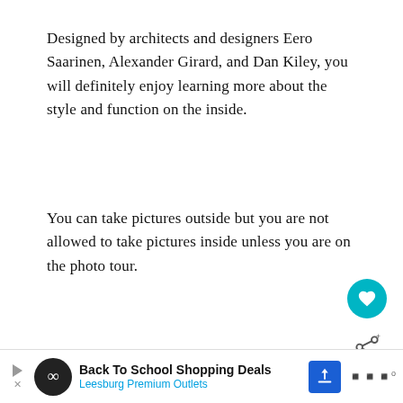Designed by architects and designers Eero Saarinen, Alexander Girard, and Dan Kiley, you will definitely enjoy learning more about the style and function on the inside.
You can take pictures outside but you are not allowed to take pictures inside unless you are on the photo tour.
[Figure (photo): Close-up photo of a dark wooden antique item or furniture piece with an oval label reading 'Fanabake' in gold italic text, against a silvery metallic background. An overlay widget shows 'WHAT'S NEXT → Things to Do During a Da...' with a thumbnail.]
[Figure (infographic): Advertisement bar: Back To School Shopping Deals — Leesburg Premium Outlets, with play button, infinity icon, blue arrow sign, and weather display.]